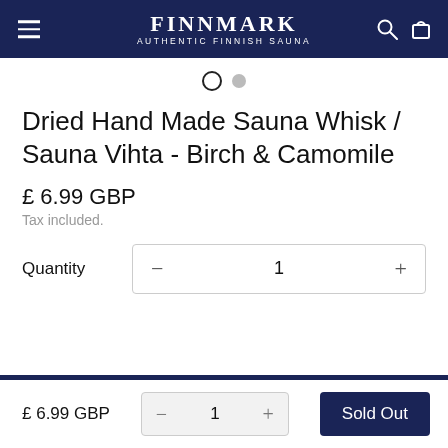FINNMARK AUTHENTIC FINNISH SAUNA
Dried Hand Made Sauna Whisk / Sauna Vihta - Birch & Camomile
£ 6.99 GBP
Tax included.
Quantity  −  1  +
£ 6.99 GBP
Sold Out